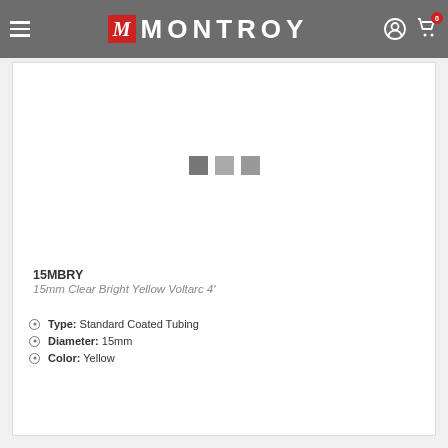MONTROY
[Figure (other): Product image placeholder with three grey square dots indicating an image carousel or loading state]
15MBRY
15mm Clear Bright Yellow Voltarc 4'
Type: Standard Coated Tubing
Diameter: 15mm
Color: Yellow